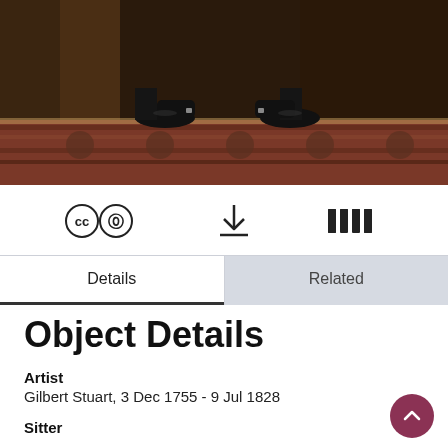[Figure (photo): Cropped bottom portion of a portrait painting showing legs/feet in dark shoes on a patterned rug, with dark background]
[Figure (infographic): Three icons in a row: CC0 (Creative Commons Zero) license icons, a download arrow icon, and an IIIF logo]
Details	Related
Object Details
Artist
Gilbert Stuart, 3 Dec 1755 - 9 Jul 1828
Sitter